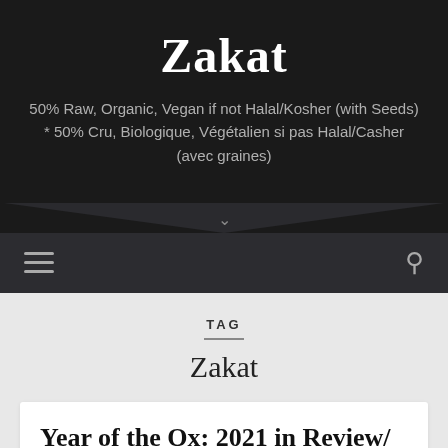Zakat
50% Raw, Organic, Vegan if not Halal/Kosher (with Seeds) * 50% Cru, Biologique, Végétalien si pas Halal/Casher (avec graines)
TAG
Zakat
Year of the Ox: 2021 in Review/ L'année du buffle: